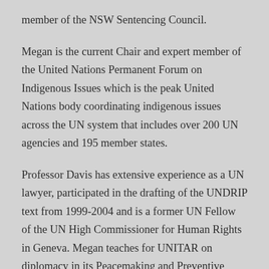member of the NSW Sentencing Council.
Megan is the current Chair and expert member of the United Nations Permanent Forum on Indigenous Issues which is the peak United Nations body coordinating indigenous issues across the UN system that includes over 200 UN agencies and 195 member states.
Professor Davis has extensive experience as a UN lawyer, participated in the drafting of the UNDRIP text from 1999-2004 and is a former UN Fellow of the UN High Commissioner for Human Rights in Geneva. Megan teaches for UNITAR on diplomacy in its Peacemaking and Preventive Diplomacy course in Switzerland and the DTP in Australia.
Professor Davis is currently chairing the course of